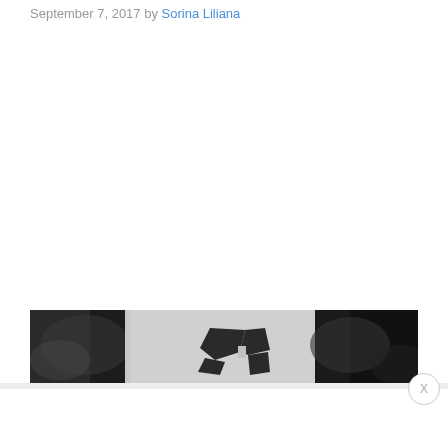September 7, 2017 by Sorina Liliana
[Figure (photo): Black and white photograph showing an arm or body part with a dark angular tattoo design in the center, dark shadowy areas on left and right sides]
X